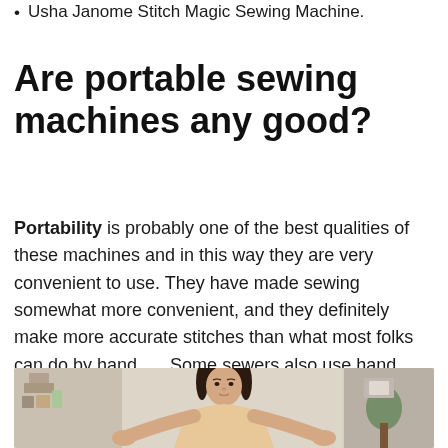Usha Janome Stitch Magic Sewing Machine.
Are portable sewing machines any good?
Portability is probably one of the best qualities of these machines and in this way they are very convenient to use. They have made sewing somewhat more convenient, and they definitely make more accurate stitches than what most folks can do by hand. … Some sewers also use hand held sewing machines to learn how to sew.
[Figure (photo): A woman with dark hair shrugging or gesturing with both hands open, appearing to be in a craft or sewing room setting.]